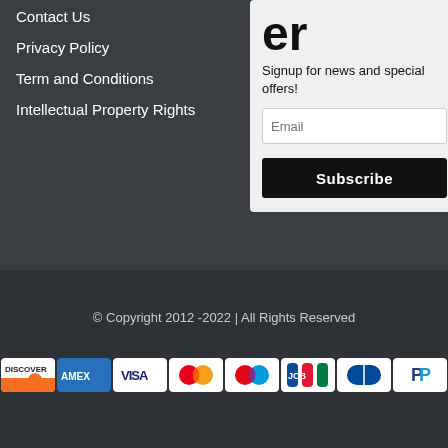Contact Us
Privacy Policy
Term and Conditions
Intellectual Property Rights
er
Signup for news and special offers!
© Copyright 2012 -2022 | All Rights Reserved
[Figure (other): Payment method icons: Discover, Amex, Visa, Mastercard, Maestro, JCB, Diners Club, PayPal]